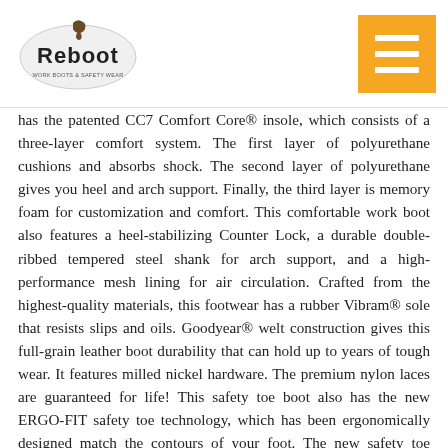Reboot [logo] [hamburger menu]
has the patented CC7 Comfort Core® insole, which consists of a three-layer comfort system. The first layer of polyurethane cushions and absorbs shock. The second layer of polyurethane gives you heel and arch support. Finally, the third layer is memory foam for customization and comfort. This comfortable work boot also features a heel-stabilizing Counter Lock, a durable double-ribbed tempered steel shank for arch support, and a high-performance mesh lining for air circulation. Crafted from the highest-quality materials, this footwear has a rubber Vibram® sole that resists slips and oils. Goodyear® welt construction gives this full-grain leather boot durability that can hold up to years of tough wear. It features milled nickel hardware. The premium nylon laces are guaranteed for life! This safety toe boot also has the new ERGO-FIT safety toe technology, which has been ergonomically designed match the contours of your foot. The new safety toe design eliminates discomfort and adds extra protection to the lateral side of the foot. It meets the ASTM standard for impact and compression, protecting your toes from up to 75 pounds of weight. You also get a